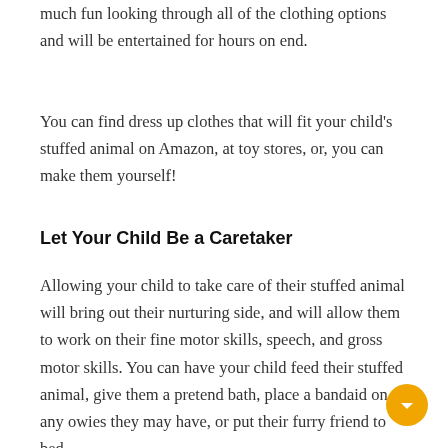much fun looking through all of the clothing options and will be entertained for hours on end.
You can find dress up clothes that will fit your child's stuffed animal on Amazon, at toy stores, or, you can make them yourself!
Let Your Child Be a Caretaker
Allowing your child to take care of their stuffed animal will bring out their nurturing side, and will allow them to work on their fine motor skills, speech, and gross motor skills. You can have your child feed their stuffed animal, give them a pretend bath, place a bandaid on any owies they may have, or put their furry friend to bed –